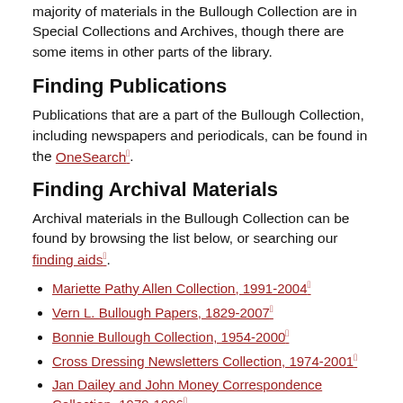majority of materials in the Bullough Collection are in Special Collections and Archives, though there are some items in other parts of the library.
Finding Publications
Publications that are a part of the Bullough Collection, including newspapers and periodicals, can be found in the OneSearch.
Finding Archival Materials
Archival materials in the Bullough Collection can be found by browsing the list below, or searching our finding aids.
Mariette Pathy Allen Collection, 1991-2004
Vern L. Bullough Papers, 1829-2007
Bonnie Bullough Collection, 1954-2000
Cross Dressing Newsletters Collection, 1974-2001
Jan Dailey and John Money Correspondence Collection, 1979-1996
Len Evans Collection, 1941-1996